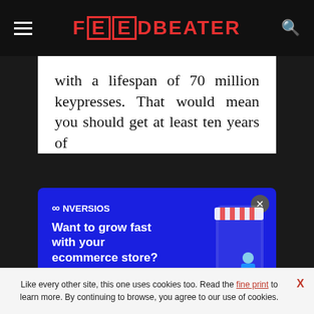FEEDBEATER
with a lifespan of 70 million keypresses. That would mean you should get at least ten years of
[Figure (screenshot): Conversios advertisement overlay with dark blue background. Shows Conversios logo, headline 'Want to grow fast with your ecommerce store?', subtext 'Run your Google campaigns via most popular plugin – Conversios', a blue 'I am in »' button, close X button, and an illustration of a woman with a shopping cart next to a large phone with striped awning.]
They are solid with pretty low wobbling. Of course, the tactile
Like every other site, this one uses cookies too. Read the fine print to learn more. By continuing to browse, you agree to our use of cookies.